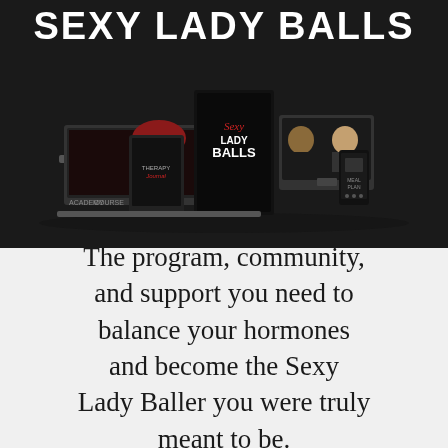SEXY LADY BALLS
[Figure (illustration): Product mockup showing multiple screens and digital devices (laptop, tablet, phone, monitor) displaying Sexy Lady Balls program content including course videos, therapy journal, and meal plan materials, arranged on a dark background]
The program, community, and support you need to balance your hormones and become the Sexy Lady Baller you were truly meant to be.